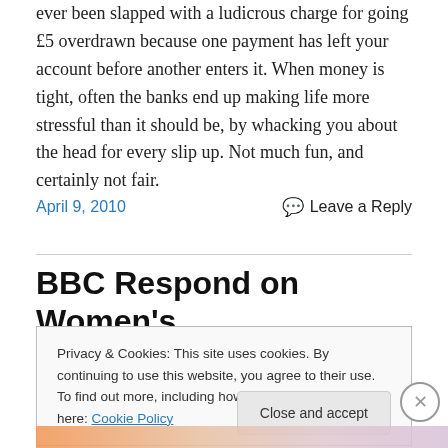ever been slapped with a ludicrous charge for going £5 overdrawn because one payment has left your account before another enters it. When money is tight, often the banks end up making life more stressful than it should be, by whacking you about the head for every slip up. Not much fun, and certainly not fair.
April 9, 2010
Leave a Reply
BBC Respond on Women's
Privacy & Cookies: This site uses cookies. By continuing to use this website, you agree to their use.
To find out more, including how to control cookies, see here: Cookie Policy
Close and accept